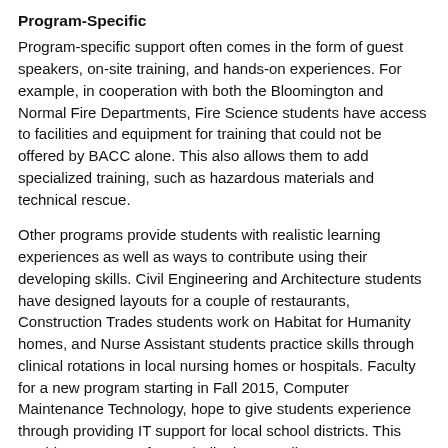Program-Specific
Program-specific support often comes in the form of guest speakers, on-site training, and hands-on experiences. For example, in cooperation with both the Bloomington and Normal Fire Departments, Fire Science students have access to facilities and equipment for training that could not be offered by BACC alone. This also allows them to add specialized training, such as hazardous materials and technical rescue.
Other programs provide students with realistic learning experiences as well as ways to contribute using their developing skills. Civil Engineering and Architecture students have designed layouts for a couple of restaurants, Construction Trades students work on Habitat for Humanity homes, and Nurse Assistant students practice skills through clinical rotations in local nursing homes or hospitals. Faculty for a new program starting in Fall 2015, Computer Maintenance Technology, hope to give students experience through providing IT support for local school districts. This would save money for each district as well.
Students report the real-world experiences help refine their career choices, as with the Health Careers student who has identified her preferred settings and patient populations. Upon graduation, some students are job-ready, able to immediately